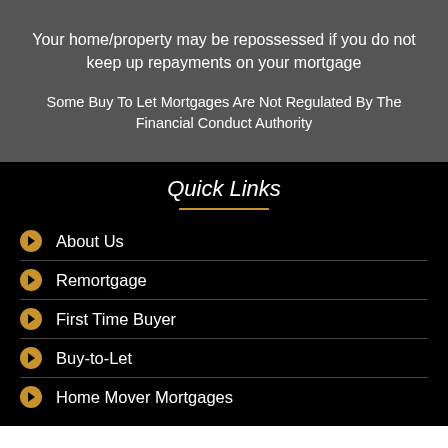Your home/property may be repossessed if you do not keep up repayments on your mortgage
Some Buy To Let Mortgages Are Not Regulated By The Financial Conduct Authority
Quick Links
About Us
Remortgage
First Time Buyer
Buy-to-Let
Home Mover Mortgages